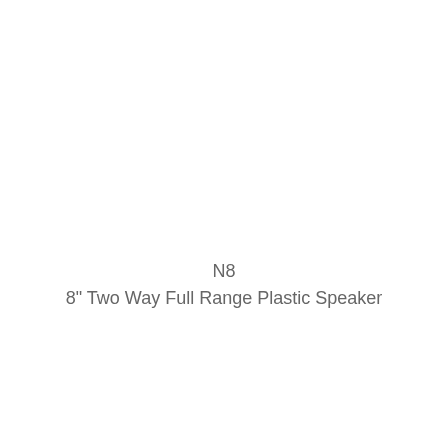N8
8" Two Way Full Range Plastic Speaker